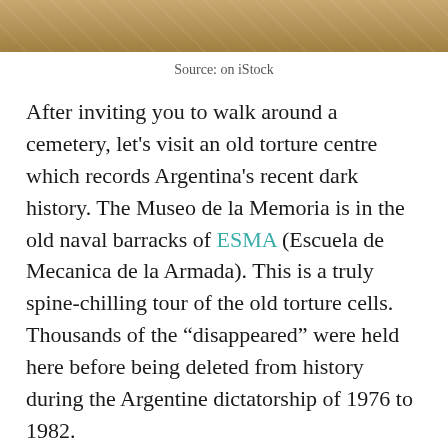[Figure (photo): Partial view of a tan/beige tiled floor or courtyard, cropped at top of page]
Source: on iStock
After inviting you to walk around a cemetery, let’s visit an old torture centre which records Argentina’s recent dark history. The Museo de la Memoria is in the old naval barracks of ESMA (Escuela de Mecanica de la Armada). This is a truly spine-chilling tour of the old torture cells. Thousands of the “disappeared” were held here before being deleted from history during the Argentine dictatorship of 1976 to 1982.
Among our other favourite historical museums is the Museo de la Inmigracion at Av Antartida, nr